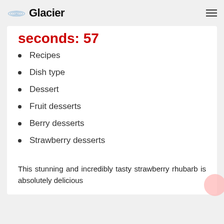Glacier
seconds: 57
Recipes
Dish type
Dessert
Fruit desserts
Berry desserts
Strawberry desserts
This stunning and incredibly tasty strawberry rhubarb is absolutely delicious